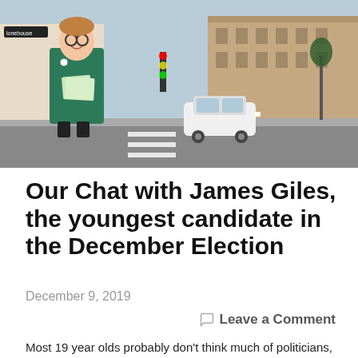[Figure (photo): A young man in a green jacket holding leaflets, standing on a UK high street with shops and a car in the background.]
Our Chat with James Giles, the youngest candidate in the December Election
December 9, 2019
Leave a Comment
Most 19 year olds probably don't think much of politicians,